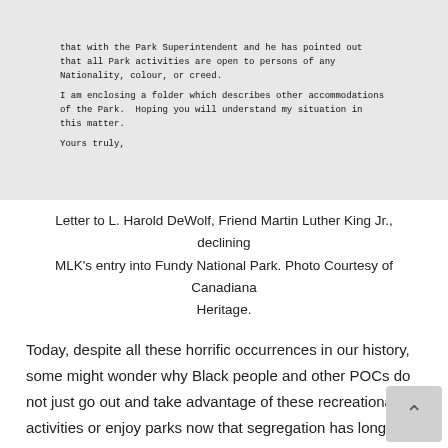[Figure (photo): Scanned letter in typewriter font, showing text about Park Superintendent, park activities open to persons of any Nationality, colour, or creed. Includes a paragraph about enclosing a folder describing other accommodations of the Park, and closing 'Yours truly,']
Letter to L. Harold DeWolf, Friend Martin Luther King Jr., declining MLK's entry into Fundy National Park. Photo Courtesy of Canadiana Heritage.
Today, despite all these horrific occurrences in our history, some might wonder why Black people and other POCs do not just go out and take advantage of these recreational activities or enjoy parks now that segregation has long been over. Although I understand where questions like this are coming from to an extent, the issue of this lack of representation or participation is far more difficult th seems. According to research, there is a generationa effect from segregation, even when it comes to recreation